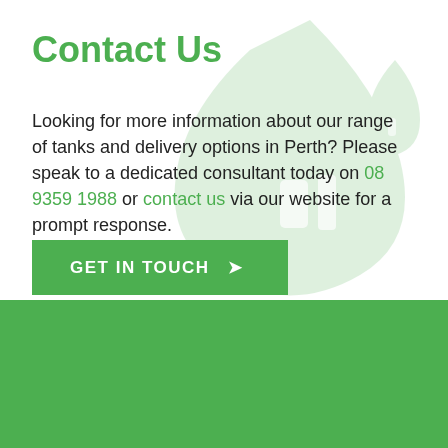Contact Us
Looking for more information about our range of tanks and delivery options in Perth? Please speak to a dedicated consultant today on 08 9359 1988 or contact us via our website for a prompt response.
[Figure (illustration): Light green watermark water drop / tank icon in the background of the top section]
GET IN TOUCH →